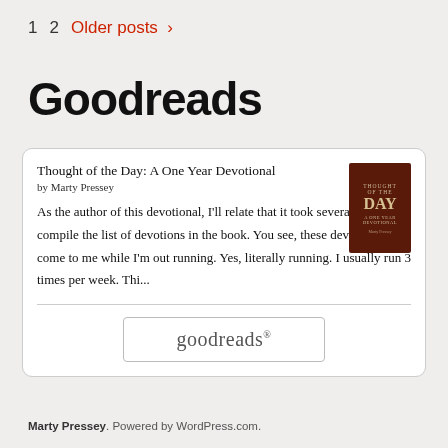1  2  Older posts >
Goodreads
Thought of the Day: A One Year Devotional
by Marty Pressey
As the author of this devotional, I'll relate that it took several years to compile the list of devotions in the book. You see, these devotions come to me while I'm out running. Yes, literally running. I usually run 3 times per week. Thi...
[Figure (logo): Goodreads logo button — text 'goodreads' in serif font inside a rounded rectangle border]
Marty Pressey. Powered by WordPress.com.